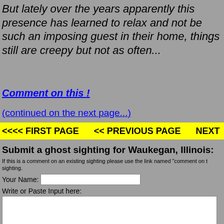But lately over the years apparently this presence has learned to relax and not be such an imposing guest in their home, things still are creepy but not as often...
Comment on this !
(continued on the next page...)
<<<< FIRST PAGE    << PREVIOUS PAGE    NEXT
Submit a ghost sighting for Waukegan, Illinois:
If this is a comment on an existing sighting please use the link named "comment on t sighting.
Your Name:
Write or Paste Input here: